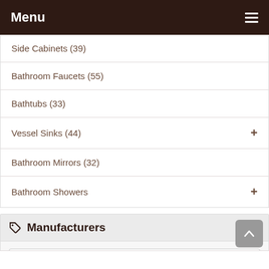Menu
Side Cabinets (39)
Bathroom Faucets (55)
Bathtubs (33)
Vessel Sinks (44)
Bathroom Mirrors (32)
Bathroom Showers
Manufacturers
Select...